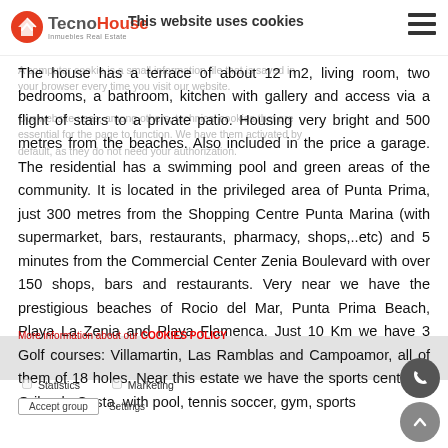TecnoHouse — This website uses cookies
A computer cookie is a small information file that is saved in your browser every time you visit our website. Our website uses, among others, technical cookies that are essential for the page to function. We have them activated by default, as they do not need your authorization.
The house has a terrace of about 12 m2, living room, two bedrooms, a bathroom, kitchen with gallery and access via a flight of stairs to a private patio. Housing very bright and 500 metres from the beaches. Also included in the price a garage. The residential has a swimming pool and green areas of the community. It is located in the privileged area of Punta Prima, just 300 metres from the Shopping Centre Punta Marina (with supermarket, bars, restaurants, pharmacy, shops,..etc) and 5 minutes from the Commercial Center Zenia Boulevard with over 150 shops, bars and restaurants. Very near we have the prestigious beaches of Rocio del Mar, Punta Prima Beach, Playa La Zenia and Playa Flamenca. Just 10 Km we have 3 Golf courses: Villamartin, Las Ramblas and Campoamor, all of them of 18 holes. Near this estate we have the sports centre of Orihuela Costa, with pool, tennis soccer, gym, sports
More information about our COOKIES POLICY
Statistics   Marketing
Accept group   Settings